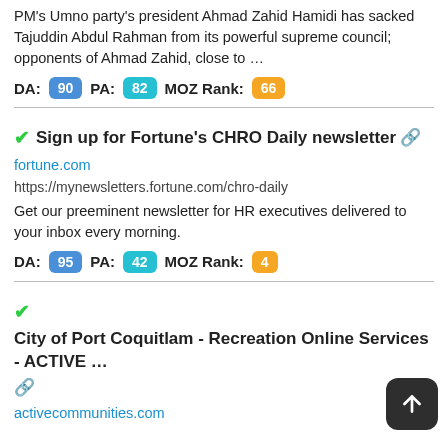PM's Umno party's president Ahmad Zahid Hamidi has sacked Tajuddin Abdul Rahman from its powerful supreme council; opponents of Ahmad Zahid, close to …
DA: 90  PA: 82  MOZ Rank: 66
✓ Sign up for Fortune's CHRO Daily newsletter 🔗
fortune.com
https://mynewsletters.fortune.com/chro-daily
Get our preeminent newsletter for HR executives delivered to your inbox every morning.
DA: 95  PA: 42  MOZ Rank: 4
✓ City of Port Coquitlam - Recreation Online Services - ACTIVE … 🔗
activecommunities.com